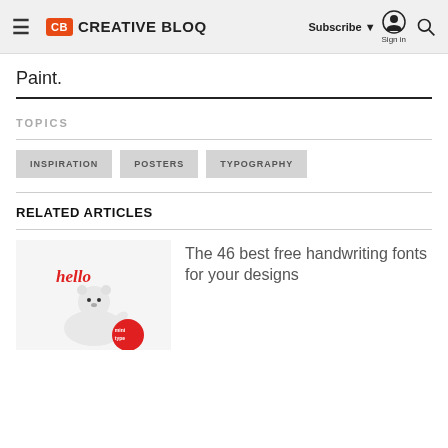Creative Bloq — Subscribe | Sign in | Search
Paint.
TOPICS
INSPIRATION
POSTERS
TYPOGRAPHY
RELATED ARTICLES
[Figure (photo): Thumbnail image with polar bear and handwriting font text 'hello' and 'mini type' on a red speech bubble]
The 46 best free handwriting fonts for your designs